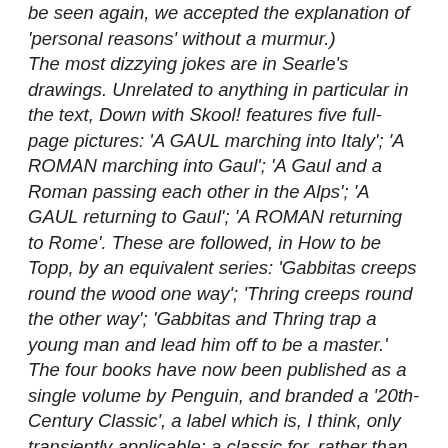be seen again, we accepted the explanation of 'personal reasons' without a murmur.) The most dizzying jokes are in Searle's drawings. Unrelated to anything in particular in the text, Down with Skool! features five full-page pictures: 'A GAUL marching into Italy'; 'A ROMAN marching into Gaul'; 'A Gaul and a Roman passing each other in the Alps'; 'A GAUL returning to Gaul'; 'A ROMAN returning to Rome'. These are followed, in How to be Topp, by an equivalent series: 'Gabbitas creeps round the wood one way'; 'Thring creeps round the other way'; 'Gabbitas and Thring trap a young man and lead him off to be a master.' The four books have now been published as a single volume by Penguin, and branded a '20th-Century Classic', a label which is, I think, only transiently applicable: a classic for, rather than of, the 20th century (even if Simon Winder, editor of the new Penguin Modern Classics series launched this month, said recently that 'there is no reason why Molesworth should not sit alongside The Trial, Mrs Dalloway and Ulysses'). As far as I can see, what takes Molesworth beyond the merely funny for his fans - the kind of people who, according to Hensher, 'ruin' dinner parties for the 'non-